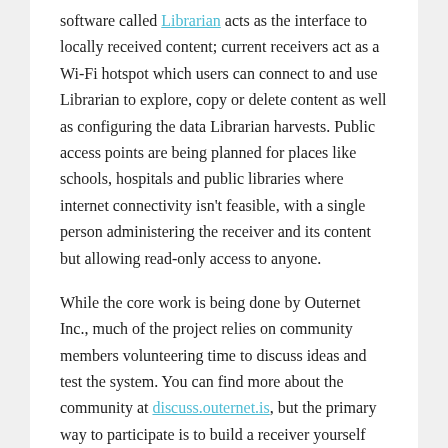software called Librarian acts as the interface to locally received content; current receivers act as a Wi-Fi hotspot which users can connect to and use Librarian to explore, copy or delete content as well as configuring the data Librarian harvests. Public access points are being planned for places like schools, hospitals and public libraries where internet connectivity isn't feasible, with a single person administering the receiver and its content but allowing read-only access to anyone.
While the core work is being done by Outernet Inc., much of the project relies on community members volunteering time to discuss ideas and test the system. You can find more about the community at discuss.outernet.is, but the primary way to participate is to build a receiver yourself and report